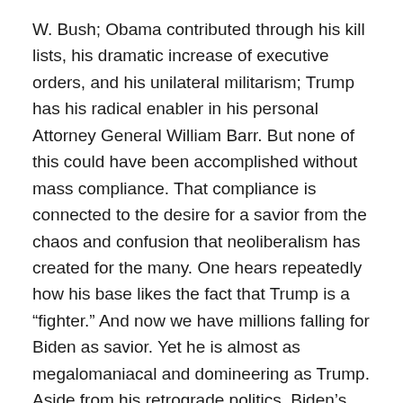W. Bush; Obama contributed through his kill lists, his dramatic increase of executive orders, and his unilateral militarism; Trump has his radical enabler in his personal Attorney General William Barr. But none of this could have been accomplished without mass compliance. That compliance is connected to the desire for a savior from the chaos and confusion that neoliberalism has created for the many. One hears repeatedly how his base likes the fact that Trump is a “fighter.” And now we have millions falling for Biden as savior. Yet he is almost as megalomaniacal and domineering as Trump. Aside from his retrograde politics, Biden’s m.o. is that of the bully.
But I think that the characteristics of a savior today are complex because of the role played by mass projected rage. Trump-the-symptom lauds the reactionary tenets of